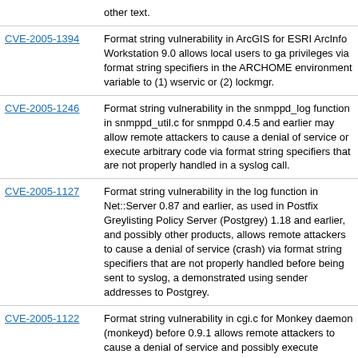| CVE ID | Description |
| --- | --- |
|  | other text. |
| CVE-2005-1394 | Format string vulnerability in ArcGIS for ESRI ArcInfo Workstation 9.0 allows local users to gain privileges via format string specifiers in the ARCHOME environment variable to (1) wservic or (2) lockmgr. |
| CVE-2005-1246 | Format string vulnerability in the snmppd_log function in snmppd_util.c for snmppd 0.4.5 and earlier may allow remote attackers to cause a denial of service or execute arbitrary code via format string specifiers that are not properly handled in a syslog call. |
| CVE-2005-1127 | Format string vulnerability in the log function in Net::Server 0.87 and earlier, as used in Postfix Greylisting Policy Server (Postgrey) 1.18 and earlier, and possibly other products, allows remote attackers to cause a denial of service (crash) via format string specifiers that are not properly handled before being sent to syslog, as demonstrated using sender addresses to Postgrey. |
| CVE-2005-1122 | Format string vulnerability in cgi.c for Monkey daemon (monkeyd) before 0.9.1 allows remote attackers to cause a denial of service and possibly execute arbitrary code via an HTTP GET request containing double-encoded format string specifiers (double-encoded percent signs). |